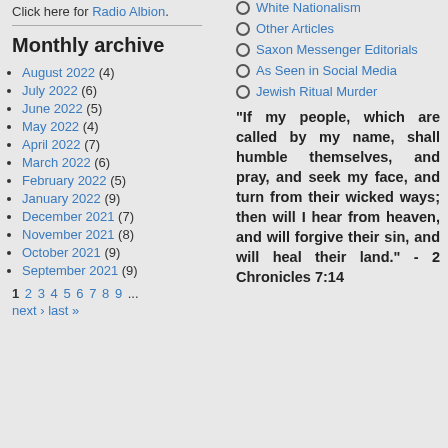Click here for Radio Albion.
Monthly archive
August 2022 (4)
July 2022 (6)
June 2022 (5)
May 2022 (4)
April 2022 (7)
March 2022 (6)
February 2022 (5)
January 2022 (9)
December 2021 (7)
November 2021 (8)
October 2021 (9)
September 2021 (9)
1 2 3 4 5 6 7 8 9 ... next › last »
White Nationalism
Other Articles
Saxon Messenger Editorials
As Seen in Social Media
Jewish Ritual Murder
"If my people, which are called by my name, shall humble themselves, and pray, and seek my face, and turn from their wicked ways; then will I hear from heaven, and will forgive their sin, and will heal their land." - 2 Chronicles 7:14